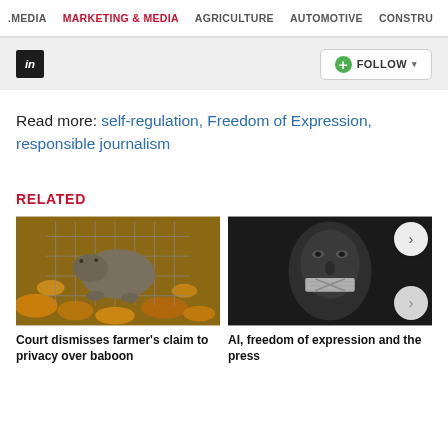MEDIA  MARKETING & MEDIA  AGRICULTURE  AUTOMOTIVE  CONSTRU
[Figure (screenshot): LinkedIn icon button (black square with 'in') and a green Follow dropdown button on a grey background]
Read more: self-regulation, Freedom of Expression, responsible journalism
RELATED
[Figure (photo): Photo of a small animal (wombat or rodent) in a wire cage surrounded by autumn leaves]
[Figure (photo): Black and white photo of a man with tape over his mouth; circular next-arrow button overlay]
Court dismisses farmer's claim to privacy over baboon
AI, freedom of expression and the press